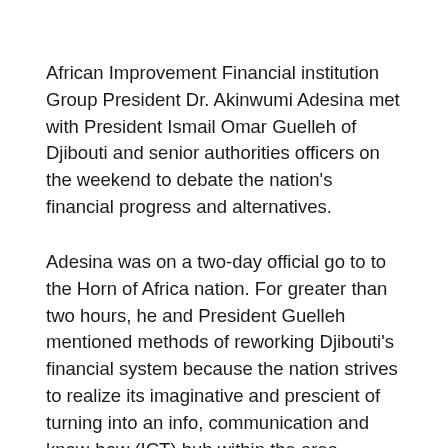African Improvement Financial institution Group President Dr. Akinwumi Adesina met with President Ismail Omar Guelleh of Djibouti and senior authorities officers on the weekend to debate the nation's financial progress and alternatives.
Adesina was on a two-day official go to to the Horn of Africa nation. For greater than two hours, he and President Guelleh mentioned methods of reworking Djibouti's financial system because the nation strives to realize its imaginative and prescient of turning into an info, communication and know-how (ICT) hub within the area.
African Improvement Financial institution Group chief Akinwumi Adesina (left) and Djibouti President Guelleh